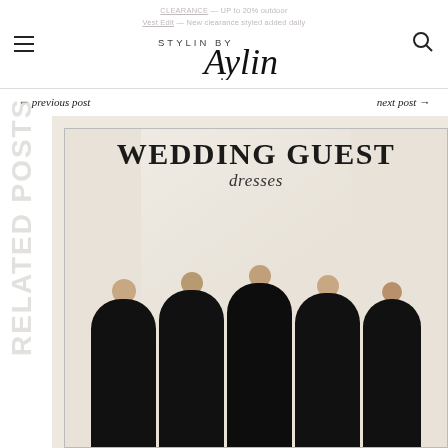STYLIN BY Aylin
CLEARANCE — UP to 20% outdoor
Vest Edit — New clearance styled added daily
← previous post
next post →
RELATED POSTS
[Figure (photo): Wedding guest dresses promotional image showing five women wearing black dresses with text overlaid reading 'WEDDING GUEST dresses']